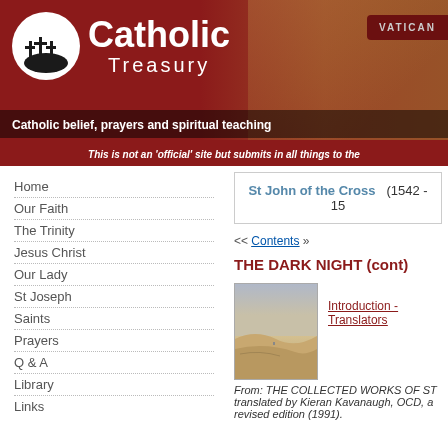Catholic Treasury
Catholic belief, prayers and spiritual teaching
This is not an 'official' site but submits in all things to the
Home
Our Faith
The Trinity
Jesus Christ
Our Lady
St Joseph
Saints
Prayers
Q & A
Library
Links
St John of the Cross   (1542 - 15
<< Contents >>
THE DARK NIGHT (cont)
[Figure (photo): Desert sand dunes landscape photo thumbnail]
Introduction - Translators
From: THE COLLECTED WORKS OF ST translated by Kieran Kavanaugh, OCD, a revised edition (1991).